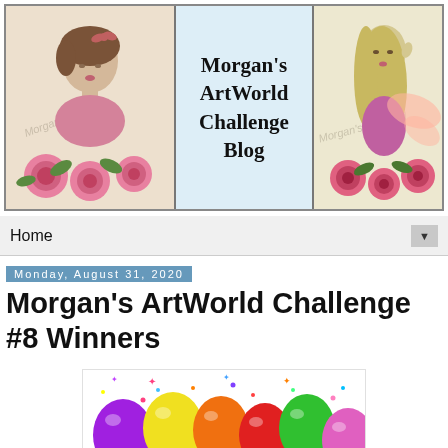[Figure (illustration): Morgan's ArtWorld Challenge Blog banner with two illustrated women with flowers and a fairy, flanking the blog title text in the center on light blue background]
Home
Monday, August 31, 2020
Morgan's ArtWorld Challenge #8 Winners
[Figure (illustration): Colorful festive balloons — purple, yellow, orange, red, green, and pink — with confetti dots on a white background]